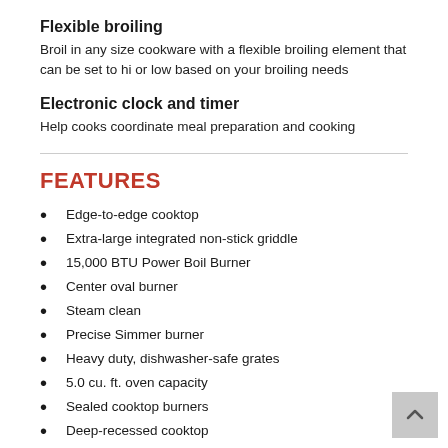Flexible broiling
Broil in any size cookware with a flexible broiling element that can be set to hi or low based on your broiling needs
Electronic clock and timer
Help cooks coordinate meal preparation and cooking
FEATURES
Edge-to-edge cooktop
Extra-large integrated non-stick griddle
15,000 BTU Power Boil Burner
Center oval burner
Steam clean
Precise Simmer burner
Heavy duty, dishwasher-safe grates
5.0 cu. ft. oven capacity
Sealed cooktop burners
Deep-recessed cooktop